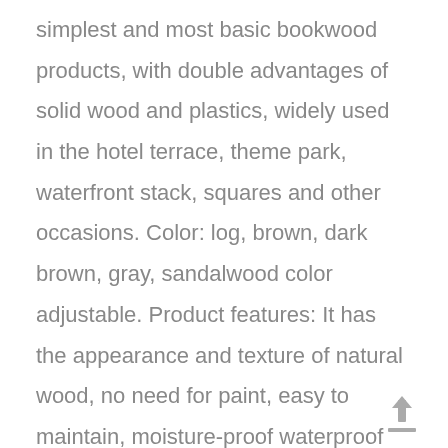simplest and most basic bookwood products, with double advantages of solid wood and plastics, widely used in the hotel terrace, theme park, waterfront stack, squares and other occasions. Color: log, brown, dark brown, gray, sandalwood color adjustable. Product features: It has the appearance and texture of natural wood, no need for paint, easy to maintain, moisture-proof waterproof can be used in a humid environment, and there will be no rot, deformed, and the style can be used for multiple color options, which can be customized